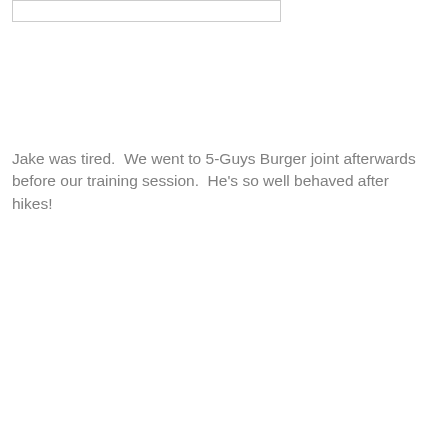[Figure (other): Empty bordered image box at top of page]
Jake was tired.  We went to 5-Guys Burger joint afterwards before our training session.  He's so well behaved after hikes!